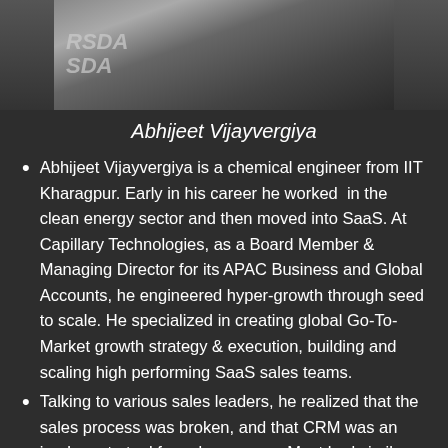[Figure (photo): Photo of Abhijeet Vijayvergiya at an event with RSDA/SDA signage visible]
Abhijeet Vijayvergiya
Abhijeet Vijayvergiya is a chemical engineer from IIT Kharagpur. Early in his career he worked in the clean energy sector and then moved into SaaS. At Capillary Technologies, as a Board Member & Managing Director for its APAC Business and Global Accounts, he engineered hyper-growth through seed to scale. He specialized in creating global Go-To-Market growth strategy & execution, building and scaling high performing SaaS sales teams.
Talking to various sales leaders, he realized that the sales process was broken, and that CRM was an inadequate tool for salespersons. Most had similar